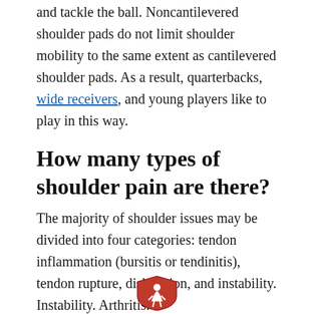and tackle the ball. Noncantilevered shoulder pads do not limit shoulder mobility to the same extent as cantilevered shoulder pads. As a result, quarterbacks, wide receivers, and young players like to play in this way.
How many types of shoulder pain are there?
The majority of shoulder issues may be divided into four categories: tendon inflammation (bursitis or tendinitis), tendon rupture, dislocation, and instability. Instability. Arthritis.
[Figure (logo): A red shield-shaped logo with a silhouette of a person and text at the bottom]